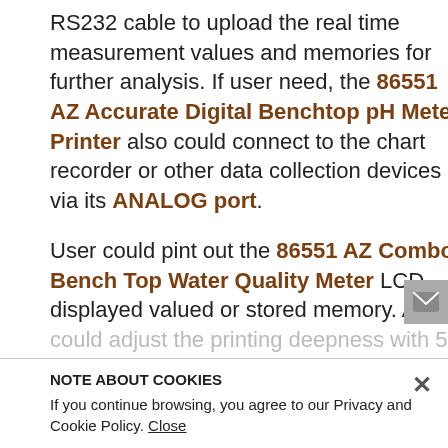RS232 cable to upload the real time measurement values and memories for further analysis. If user need, the 86551 AZ Accurate Digital Benchtop pH Meter Printer also could connect to the chart recorder or other data collection devices via its ANALOG port.
User could pint out the 86551 AZ Combo Bench Top Water Quality Meter LCD displayed valued or stored memory. And it could adjust the printing deepness with 5 levels. The 86551 AZ Bench Top pH Printer is designed and manufactured with the economic for user to change the thermal
NOTE ABOUT COOKIES
If you continue browsing, you agree to our Privacy and Cookie Policy. Close